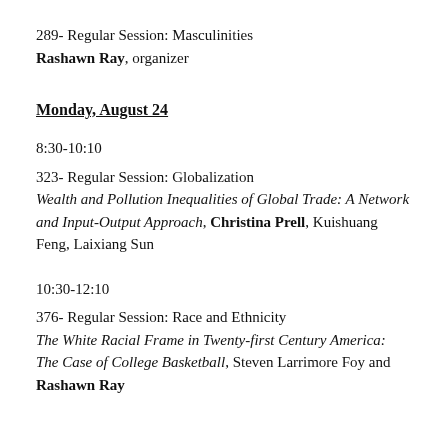289- Regular Session: Masculinities
Rashawn Ray, organizer
Monday, August 24
8:30-10:10
323- Regular Session: Globalization
Wealth and Pollution Inequalities of Global Trade: A Network and Input-Output Approach, Christina Prell, Kuishuang Feng, Laixiang Sun
10:30-12:10
376- Regular Session: Race and Ethnicity
The White Racial Frame in Twenty-first Century America: The Case of College Basketball, Steven Larrimore Foy and Rashawn Ray